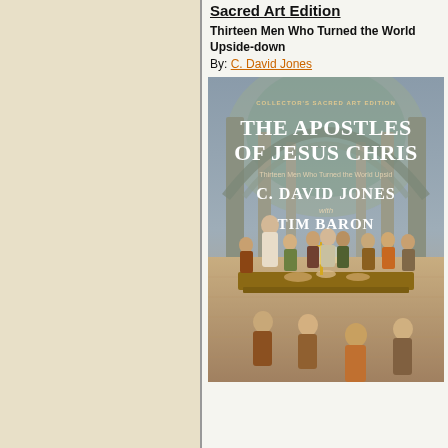Sacred Art Edition
Thirteen Men Who Turned the World Upside-down
By: C. David Jones
[Figure (illustration): Book cover for 'The Apostles of Jesus Christ – Collector's Sacred Art Edition' by C. David Jones with Tim Baron. The cover shows a painted scene of Jesus and the apostles seated at a long table in a stone hall with arches and columns, reminiscent of the Last Supper, with a menorah centerpiece and many figures in robes.]